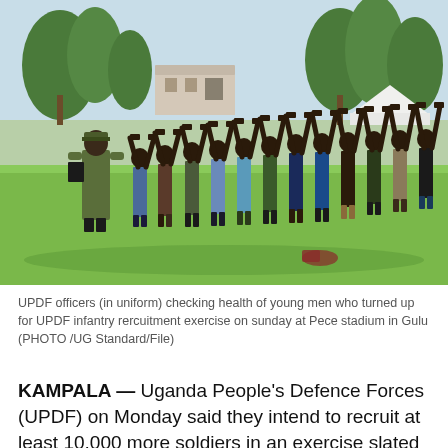[Figure (photo): UPDF officer in camouflage uniform checking a line of shirtless young men with hands raised above their heads on a grass field, with trees and a building visible in the background. Military recruitment medical inspection scene.]
UPDF officers (in uniform) checking health of young men who turned up for UPDF infantry rercuitment exercise on sunday at Pece stadium in Gulu (PHOTO /UG Standard/File)
KAMPALA — Uganda People's Defence Forces (UPDF) on Monday said they intend to recruit at least 10,000 more soldiers in an exercise slated to be conducted between June 18 and July 4, 2022.